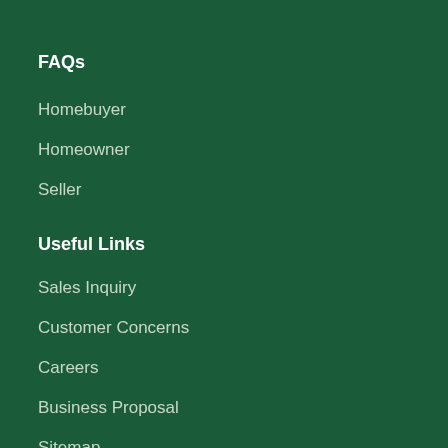FAQs
Homebuyer
Homeowner
Seller
Useful Links
Sales Inquiry
Customer Concerns
Careers
Business Proposal
Sitemap
Workplace Channel
Vendor's Hub